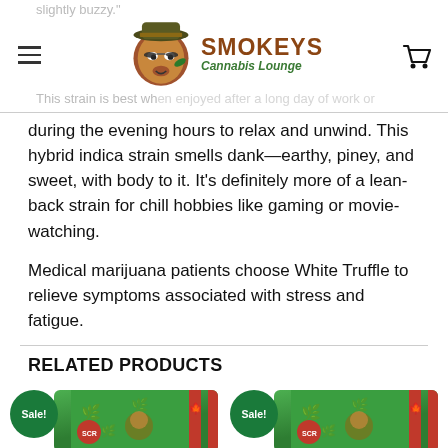Smokeys Cannabis Lounge
slightly buzzy."
This strain is best when enjoyed after a long day of work or during the evening hours to relax and unwind. This hybrid indica strain smells dank—earthy, piney, and sweet, with body to it. It's definitely more of a lean-back strain for chill hobbies like gaming or movie-watching.
Medical marijuana patients choose White Truffle to relieve symptoms associated with stress and fatigue.
RELATED PRODUCTS
[Figure (photo): Two product packages with Sale! badges - green cannabis product bags]
[Figure (photo): Second product package with Sale! badge - green cannabis product bag]